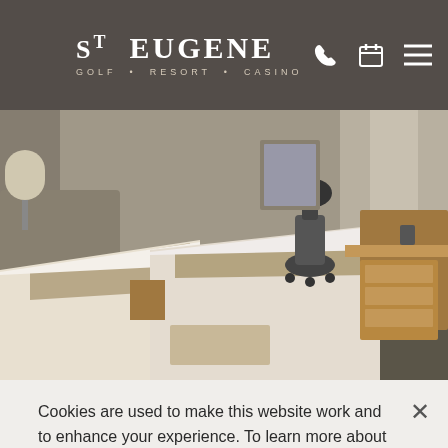ST EUGENE GOLF • RESORT • CASINO
[Figure (photo): Hotel room interior with two queen beds with white linens and tan accent stripes, an office chair, wooden dresser, and window with curtains in the background.]
Cookies are used to make this website work and to enhance your experience. To learn more about the types of cookies this website uses, see our Cookie Policy. You can provide consent by clicking the "I Consent" button or by canceling this cookie notice.
I CONSENT
MANAGE COOKIES